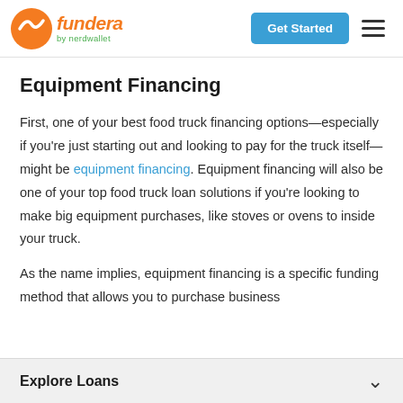fundera by nerdwallet — Get Started
Equipment Financing
First, one of your best food truck financing options—especially if you're just starting out and looking to pay for the truck itself—might be equipment financing. Equipment financing will also be one of your top food truck loan solutions if you're looking to make big equipment purchases, like stoves or ovens to inside your truck.
As the name implies, equipment financing is a specific funding method that allows you to purchase business
Explore Loans